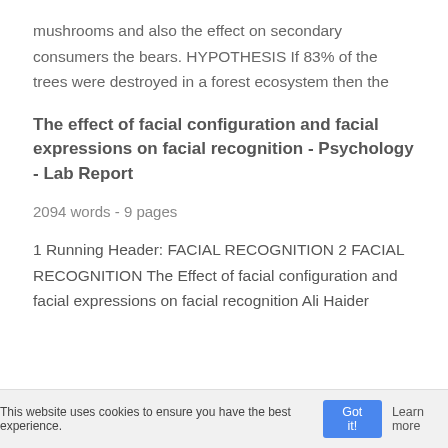mushrooms and also the effect on secondary consumers the bears.  HYPOTHESIS  If 83% of the trees were destroyed in a forest ecosystem then the
The effect of facial configuration and facial expressions on facial recognition - Psychology - Lab Report
2094 words - 9 pages
1 Running Header: FACIAL RECOGNITION 2 FACIAL RECOGNITION The Effect of facial configuration and facial expressions on facial recognition Ali Haider
This website uses cookies to ensure you have the best experience.